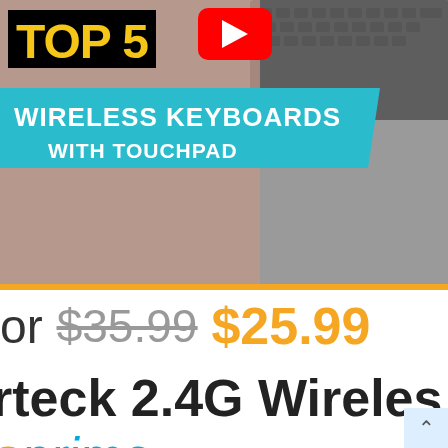[Figure (screenshot): YouTube thumbnail for 'TOP 5 WIRELESS KEYBOARDS WITH TOUCHPAD' video, showing a wireless keyboard on a desk with a teal banner and YouTube play button icon.]
or $35.99 $25.99
rteck 2.4G Wireless
prime